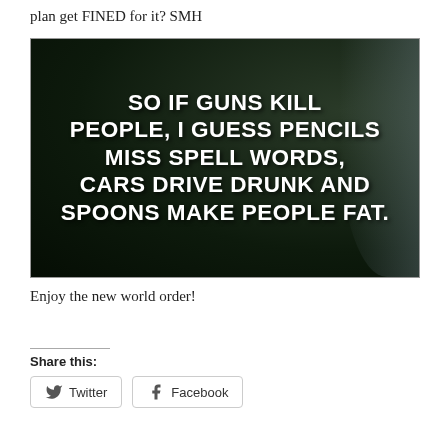plan get FINED for it? SMH
[Figure (photo): A car window sticker on a dark background with white bold text reading: SO IF GUNS KILL PEOPLE, I GUESS PENCILS MISS SPELL WORDS, CARS DRIVE DRUNK AND SPOONS MAKE PEOPLE FAT.]
Enjoy the new world order!
Share this:
Twitter | Facebook (share buttons)